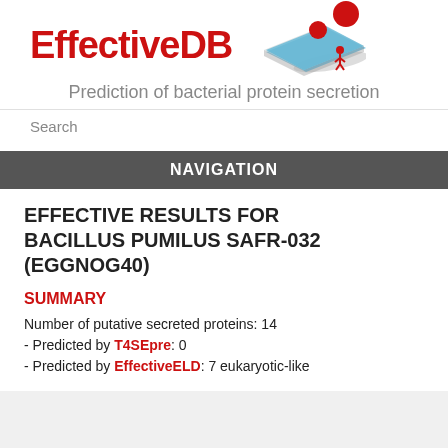[Figure (logo): EffectiveDB logo with red text and a stylized graphic of red spheres on a blue diamond/cell membrane shape]
Prediction of bacterial protein secretion
Search
NAVIGATION
EFFECTIVE RESULTS FOR BACILLUS PUMILUS SAFR-032 (EGGNOG40)
SUMMARY
Number of putative secreted proteins: 14
- Predicted by T4SEpre: 0
- Predicted by EffectiveELD: 7 eukaryotic-like